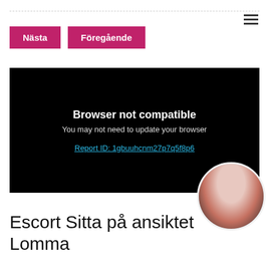[Figure (screenshot): Navigation buttons: 'Nästa' and 'Föregående' pink/magenta buttons with hamburger menu icon in top right]
[Figure (screenshot): Black browser compatibility error panel showing 'Browser not compatible', 'You may need to update your browser', and a cyan underlined link 'Report ID: 1gbuuhcnm27p7q5f8p6']
[Figure (photo): Circular profile photo of a dark-haired woman, partially visible at bottom right]
Escort Sitta på ansiktet Lomma